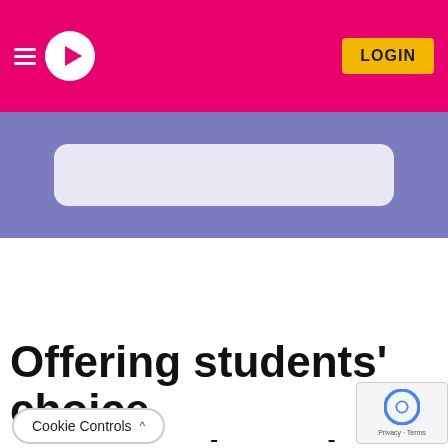LOGIN
[Figure (screenshot): Purple banner area with a light rounded rectangle in the center, part of a website UI]
Offering students' choice ow they learn is